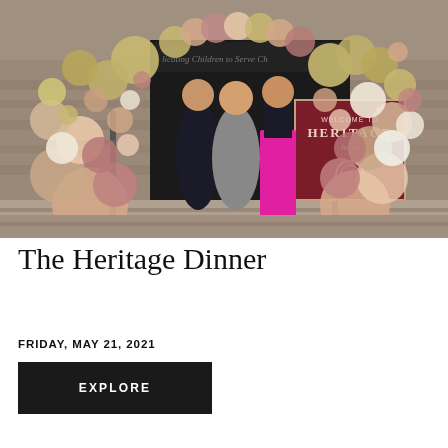[Figure (photo): Three women posing at an entrance decorated with a large balloon arch in peach, pink, mauve, gold, and white tones. The doorway shows partial text 'licating Children to Serve Ch'. A dark red sign reads 'WELCOME TO HERITAGE' with a medallion logo. The building has stone exterior and handrails on either side.]
The Heritage Dinner
FRIDAY, MAY 21, 2021
EXPLORE